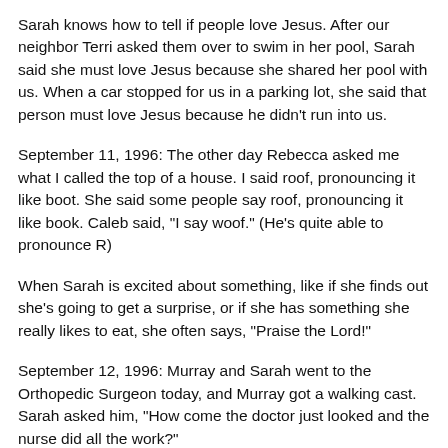Sarah knows how to tell if people love Jesus. After our neighbor Terri asked them over to swim in her pool, Sarah said she must love Jesus because she shared her pool with us. When a car stopped for us in a parking lot, she said that person must love Jesus because he didn't run into us.
September 11, 1996: The other day Rebecca asked me what I called the top of a house. I said roof, pronouncing it like boot. She said some people say roof, pronouncing it like book. Caleb said, "I say woof." (He's quite able to pronounce R)
When Sarah is excited about something, like if she finds out she's going to get a surprise, or if she has something she really likes to eat, she often says, "Praise the Lord!"
September 12, 1996: Murray and Sarah went to the Orthopedic Surgeon today, and Murray got a walking cast. Sarah asked him, "How come the doctor just looked and the nurse did all the work?"
Isabelle, a little neighbor girl was over to play today. She